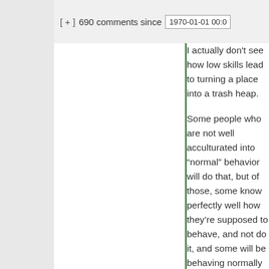[ + ]  690 comments since  1970-01-01 00:0
I actually don't see how low skills lead to turning a place into a trash heap.
Some people who are not well acculturated into "normal" behavior will do that, but of those, some know perfectly well how they're supposed to behave, and not do it, and some will be behaving normally for their particular subculture and/or home society. Others will simply be responding to incentives – nothing unusually bad will happen to them if they trash apartment after apartment. And others will simply be too exhausted to cope, for w